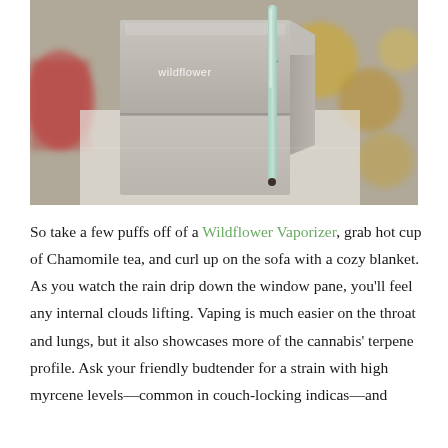[Figure (photo): Close-up photo of a Wildflower branded rectangular box/vaporizer packaging in light grey/beige color with the word 'wildflower' printed on it, alongside a mint-green slim vape pen/cigarette, on a blurred background.]
So take a few puffs off of a Wildflower Vaporizer, grab hot cup of Chamomile tea, and curl up on the sofa with a cozy blanket. As you watch the rain drip down the window pane, you'll feel any internal clouds lifting. Vaping is much easier on the throat and lungs, but it also showcases more of the cannabis' terpene profile. Ask your friendly budtender for a strain with high myrcene levels—common in couch-locking indicas—and